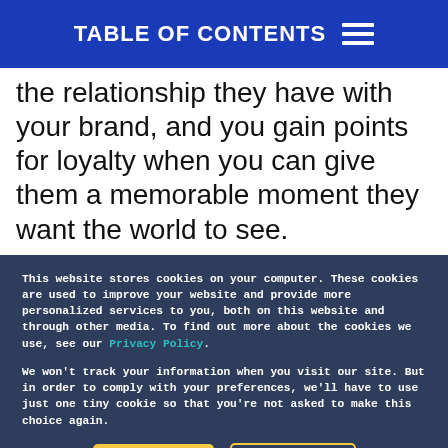TABLE OF CONTENTS
the relationship they have with your brand, and you gain points for loyalty when you can give them a memorable moment they want the world to see.
This website stores cookies on your computer. These cookies are used to improve your website and provide more personalized services to you, both on this website and through other media. To find out more about the cookies we use, see our Privacy Policy.
We won't track your information when you visit our site. But in order to comply with your preferences, we'll have to use just one tiny cookie so that you're not asked to make this choice again.
Accept
Decline